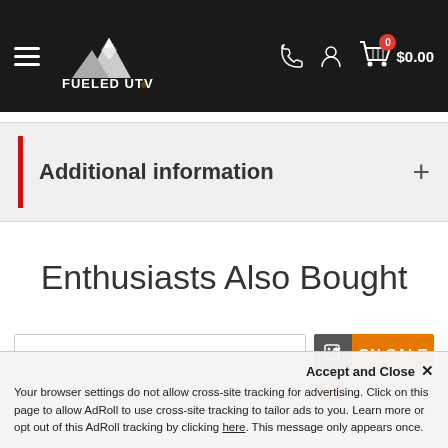Fueled UTV — navigation header with logo, phone, account, and cart ($0.00)
Additional information
Enthusiasts Also Bought
[Figure (screenshot): ON SALE product banner and product card thumbnails]
Accept and Close ×
Your browser settings do not allow cross-site tracking for advertising. Click on this page to allow AdRoll to use cross-site tracking to tailor ads to you. Learn more or opt out of this AdRoll tracking by clicking here. This message only appears once.